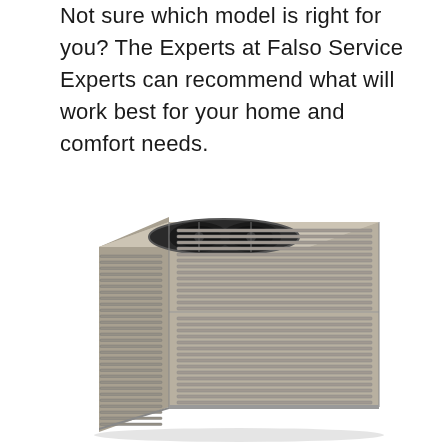Not sure which model is right for you? The Experts at Falso Service Experts can recommend what will work best for your home and comfort needs.
[Figure (photo): Photograph of an outdoor HVAC package unit / air conditioner with a beige/tan metal housing, louvered side panels, and dual fans visible on the top grille.]